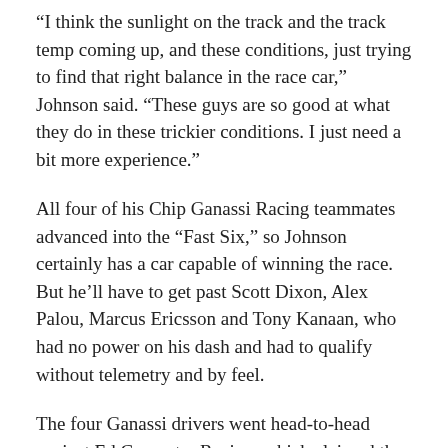“I think the sunlight on the track and the track temp coming up, and these conditions, just trying to find that right balance in the race car,” Johnson said. “These guys are so good at what they do in these trickier conditions. I just need a bit more experience.”
All four of his Chip Ganassi Racing teammates advanced into the “Fast Six,” so Johnson certainly has a car capable of winning the race. But he’ll have to get past Scott Dixon, Alex Palou, Marcus Ericsson and Tony Kanaan, who had no power on his dash and had to qualify without telemetry and by feel.
The four Ganassi drivers went head-to-head against Ed Carpenter Racing, which claimed the final two spots for Chevrolet with team owner Carpenter and 21-year-old Rinus VeeKay.
VeeKay, who posted the third-fastest qualifying